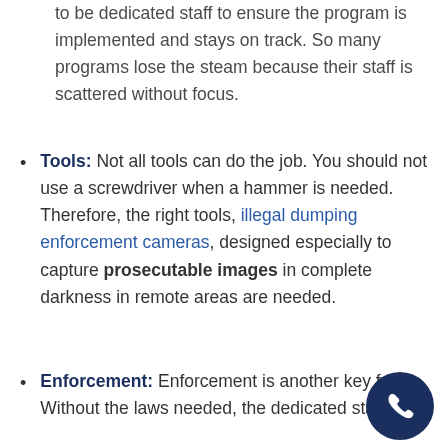to be dedicated staff to ensure the program is implemented and stays on track. So many programs lose the steam because their staff is scattered without focus.
Tools: Not all tools can do the job. You should not use a screwdriver when a hammer is needed. Therefore, the right tools, illegal dumping enforcement cameras, designed especially to capture prosecutable images in complete darkness in remote areas are needed.
Enforcement: Enforcement is another key fa... Without the laws needed, the dedicated staff, and